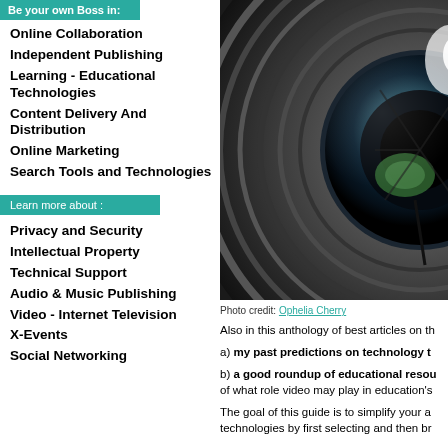Online Collaboration
Independent Publishing
Learning - Educational Technologies
Content Delivery And Distribution
Online Marketing
Search Tools and Technologies
Learn more about :
Privacy and Security
Intellectual Property
Technical Support
Audio & Music Publishing
Video - Internet Television
X-Events
Social Networking
[Figure (photo): Close-up photograph of a camera lens showing circular aperture blades and reflections]
Photo credit: Ophelia Cherry
Also in this anthology of best articles on th
a) my past predictions on technology t
b) a good roundup of educational resou of what role video may play in education's
The goal of this guide is to simplify your a technologies by first selecting and then br